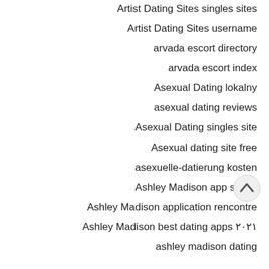Artist Dating Sites singles sites
Artist Dating Sites username
arvada escort directory
arvada escort index
Asexual Dating lokalny
asexual dating reviews
Asexual Dating singles site
Asexual dating site free
asexuelle-datierung kosten
Ashley Madison app seiten
Ashley Madison application rencontre
Ashley Madison best dating apps ۲۰۲۱
ashley madison dating